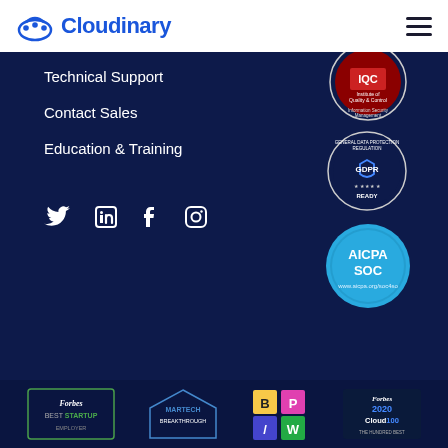Cloudinary
Technical Support
Contact Sales
Education & Training
[Figure (logo): Social media icons: Twitter, LinkedIn, Facebook, Instagram]
[Figure (logo): IQC certification badge - Information Security Management]
[Figure (logo): GDPR Ready badge - General Data Protection Regulation]
[Figure (logo): AICPA SOC badge]
[Figure (logo): Awards strip: Forbes Best Startup, Martech Breakthrough, B/P/W logos, Forbes Cloud100 2020]